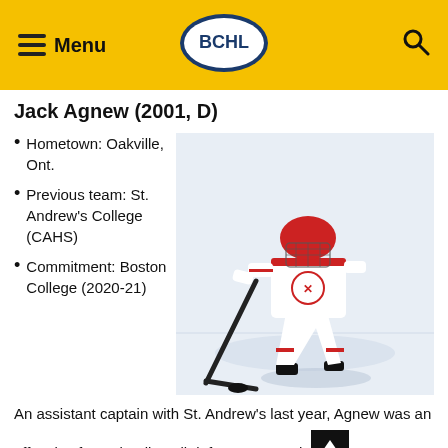Menu | BCHL | Search
Jack Agnew (2001, D)
Hometown: Oakville, Ont.
Previous team: St. Andrew's College (CAHS)
Commitment: Boston College (2020-21)
[Figure (photo): Hockey player Jack Agnew in red and white uniform skating with stick on ice]
An assistant captain with St. Andrew's last year, Agnew was an offensive force, leading all defencemen on his team in scoring with 42 points.